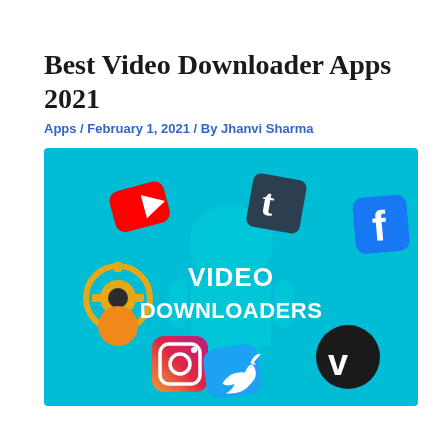Best Video Downloader Apps 2021
Apps / February 1, 2021 / By Jhanvi Sharma
[Figure (illustration): Teal/cyan background image showing an Android robot silhouette with social media app icons (YouTube, Tumblr, Facebook, Instagram, Twitter, Vimeo, and a settings icon) floating around it, with white bold text reading VIDEO DOWNLOADERS in the center.]